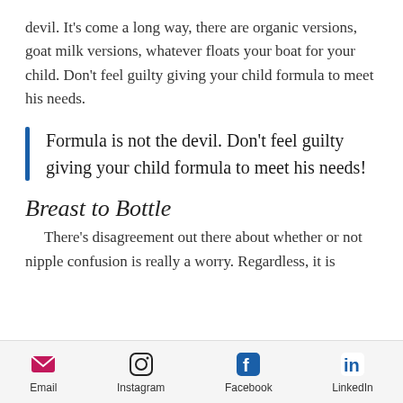devil. It's come a long way, there are organic versions, goat milk versions, whatever floats your boat for your child. Don't feel guilty giving your child formula to meet his needs.
Formula is not the devil. Don't feel guilty giving your child formula to meet his needs!
Breast to Bottle
There's disagreement out there about whether or not nipple confusion is really a worry. Regardless, it is
Email  Instagram  Facebook  LinkedIn